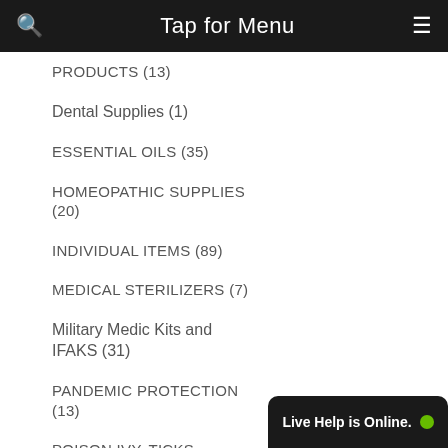Tap for Menu
PRODUCTS (13)
Dental Supplies (1)
ESSENTIAL OILS (35)
HOMEOPATHIC SUPPLIES (20)
INDIVIDUAL ITEMS (89)
MEDICAL STERILIZERS (7)
Military Medic Kits and IFAKS (31)
PANDEMIC PROTECTION (13)
POISON IVY, TICKS, PARASITES TREATMENT (10)
Survival-Medical Products (9)